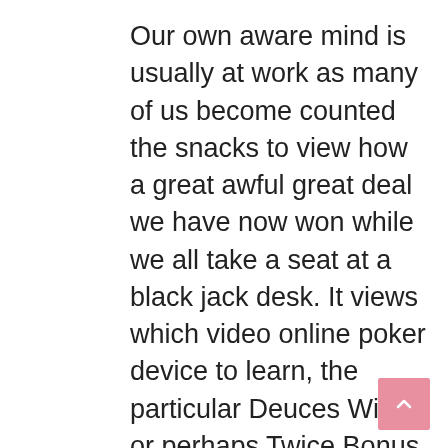Our own aware mind is usually at work as many of us become counted the snacks to view how a great awful great deal we have now won while we all take a seat at a black jack desk. It views which video online poker device to learn, the particular Deuces Wild or perhaps Twice Bonus, and even it makes a preference. The conscious thoughts inserts typically the money right into a slot machine game and presses the particular spin key. Much more choices, whether or not or even not to stop perform and acquire a specific program to consume, as well as to maintain. This a component of our feelings may be stated to find a way to be the manager since it guides the picks all of us help make. It thinks issues through plus arrives to a